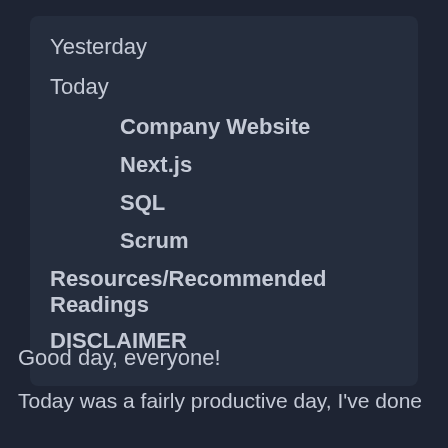Yesterday
Today
Company Website
Next.js
SQL
Scrum
Resources/Recommended Readings
DISCLAIMER
Good day, everyone!
Today was a fairly productive day, I've done